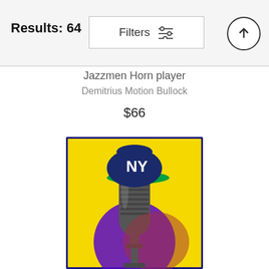Results: 64
Filters
Jazzmen Horn player
Demitrius Motion Bullock
$66
[Figure (illustration): Digital illustration of a vintage microphone wearing a navy NY Yankees baseball cap with a green brim, set against a yellow background with a purple circle behind the base of the microphone.]